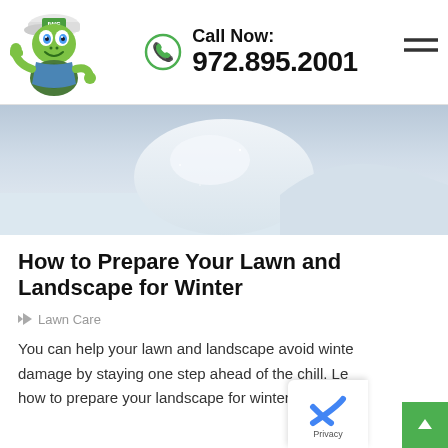[Figure (logo): Green cartoon turtle mascot wearing a blue uniform and white cap with a thumbs up, used as company logo]
Call Now: 972.895.2001
[Figure (photo): Close-up photo of white snow with a snowy mound/shape in the background, hero banner image]
How to Prepare Your Lawn and Landscape for Winter
Lawn Care
You can help your lawn and landscape avoid winter damage by staying one step ahead of the chill. Lea how to prepare your landscape for winter today.